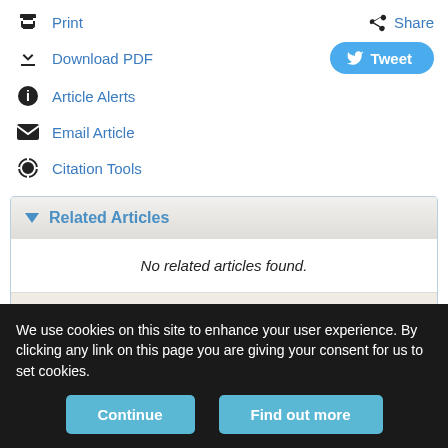Print
Share
Download PDF
Tweet
Article Alerts
Email Article
Citation Tools
Related Articles
No related articles found.
PubMed   Google Scholar
Cited By...
More in this TOC Section
We use cookies on this site to enhance your user experience. By clicking any link on this page you are giving your consent for us to set cookies.